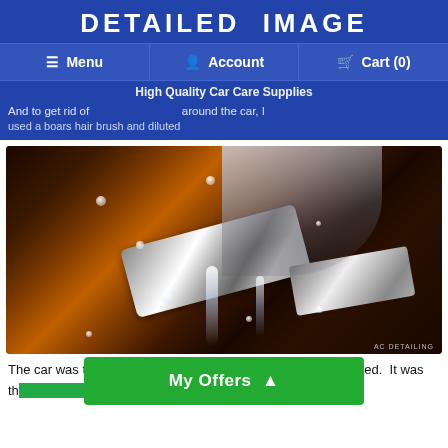[Figure (logo): Detailed Image logo — white bold uppercase text on blue background]
Menu | Account | Cart (0)
High Quality Car Care Supplies
And to get rid of ... around the car, I used a boars hair brush and diluted all purpose cleaner.
[Figure (photo): Close-up photo of a brush scrubbing a chrome/metal car trim piece with soapy water and water droplets, water running down. Watermark: AC DETAILING]
The car was then washed with the two bucket method, and dried. It was th... sunlight. I was waiting for the b...
My Offers